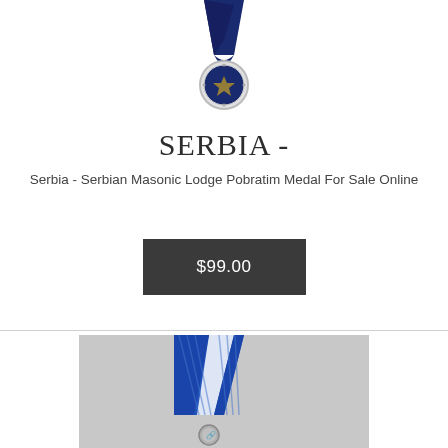[Figure (photo): Serbian Masonic Lodge Pobratim medal with dark navy ribbon hanging from it, silver circular medal visible at bottom, white background]
SERBIA -
Serbia - Serbian Masonic Lodge Pobratim Medal For Sale Online
$99.00
[Figure (photo): Serbian medal with blue and white diagonal striped ribbon in a V shape, silver medal pendant visible at bottom, light grey background]